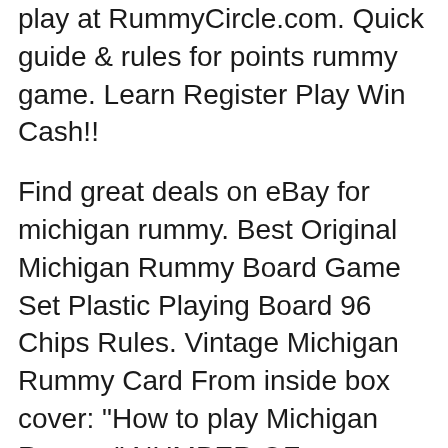play at RummyCircle.com. Quick guide & rules for points rummy game. Learn Register Play Win Cash!!
Find great deals on eBay for michigan rummy. Best Original Michigan Rummy Board Game Set Plastic Playing Board 96 Chips Rules. Vintage Michigan Rummy Card From inside box cover: "How to play Michigan Rummy" NUMBER OF PLAYERS: Two to nine players may play "Michigan Rummy". EQUIPMENT: Michigan Rummy
Michigan. Introduction; Cards and Layout; Placing Stakes and Dealing; The Play; Variations; Michigan Rummy / Three in One; Introduction. This game is